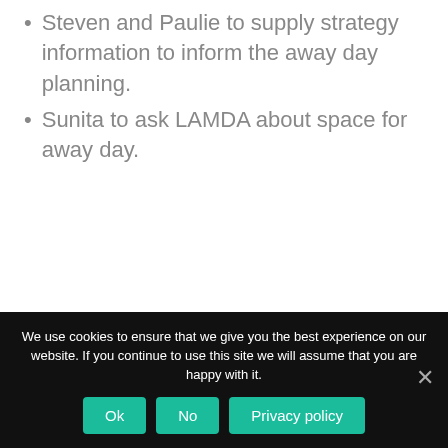Steven and Paulie to supply strategy information to inform the away day planning.
Sunita to ask LAMDA about space for away day.
We use cookies to ensure that we give you the best experience on our website. If you continue to use this site we will assume that you are happy with it.